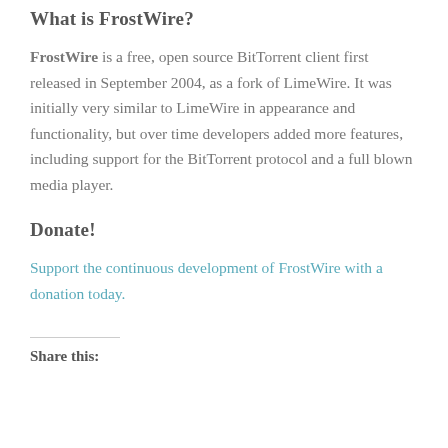What is FrostWire?
FrostWire is a free, open source BitTorrent client first released in September 2004, as a fork of LimeWire. It was initially very similar to LimeWire in appearance and functionality, but over time developers added more features, including support for the BitTorrent protocol and a full blown media player.
Donate!
Support the continuous development of FrostWire with a donation today.
Share this: